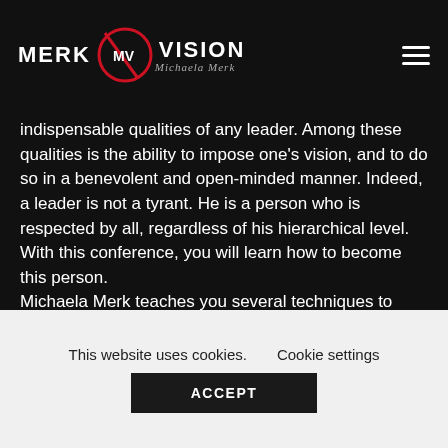[Figure (logo): Merk Vision logo with red circular emblem containing 'MV' text, flanked by 'MERK' and 'VISION' text, with 'Michaela Merk' signature below]
indispensable qualities of any leader. Among these qualities is the ability to impose one's vision, and to do so in a benevolent and open-minded manner. Indeed, a leader is not a tyrant. He is a person who is respected by all, regardless of his hierarchical level. With this conference, you will learn how to become this person.
Michaela Merk teaches you several techniques to adopt in order to bring out your soul as a leader.
Because of their format, the leadership
This website uses cookies.
Cookie settings
ACCEPT